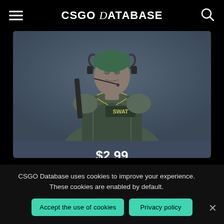CSGO Database
[Figure (photo): CSGO SWAT female agent character model wearing green helmet, headset, and SWAT vest, rendered against a dark blue-gray background]
$2.99
sold in the past 24 hours
Riptide Agents
CSGO Database uses cookies to improve your experience. These cookies are enabled by default.
Accept the use of cookies
Privacy policy